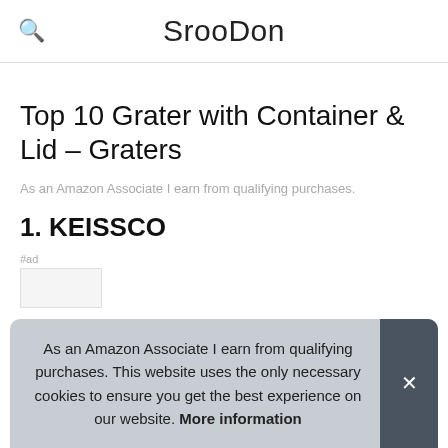SrooDon
Top 10 Grater with Container & Lid – Graters
As an Amazon Associate I earn from qualifying purchases.
1. KEISSCO
#ad
As an Amazon Associate I earn from qualifying purchases. This website uses the only necessary cookies to ensure you get the best experience on our website. More information